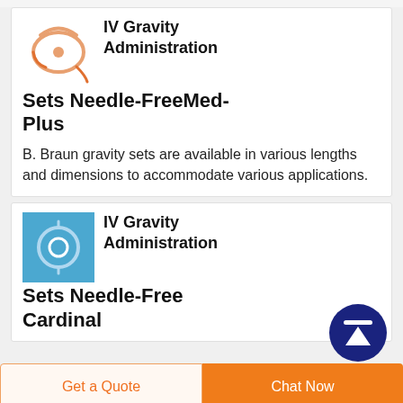IV Gravity Administration Sets Needle-FreeMed-Plus
B. Braun gravity sets are available in various lengths and dimensions to accommodate various applications.
[Figure (photo): Product image of IV gravity administration set tubing on white background]
[Figure (illustration): Scroll-to-top button: dark navy circle with white upward arrow and horizontal line at top]
IV Gravity Administration Sets Needle-Free Cardinal
[Figure (photo): Product image of IV gravity administration set on blue background]
Get a Quote
Chat Now